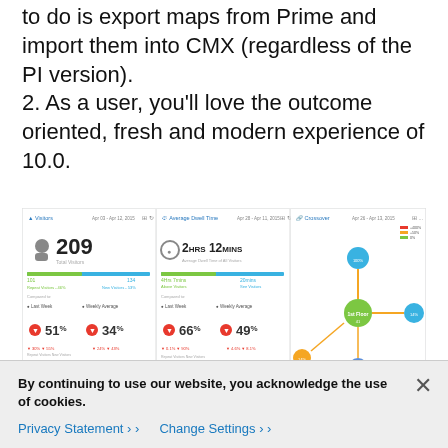to do is export maps from Prime and import them into CMX (regardless of the PI version).
2. As a user, you'll love the outcome oriented, fresh and modern experience of 10.0.
[Figure (screenshot): Analytics dashboard screenshot showing three panels: Visitors (209 Total Visitors, 51% and 34% down indicators), Average Dwell Time (2HRS 12MINS, 66% and 49% down), and Crossover network diagram with colored nodes connected by orange lines.]
3. Real-time analytics dashboard for visitor counts, visitor dwell times, etc. Analytics Widgets are completely customizable, depending on the
By continuing to use our website, you acknowledge the use of cookies.
Privacy Statement > Change Settings >